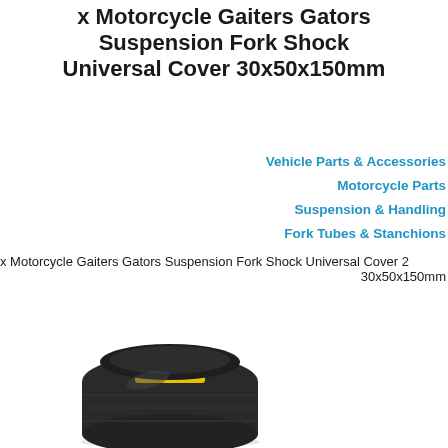x Motorcycle Gaiters Gators Suspension Fork Shock Universal Cover 30x50x150mm
Vehicle Parts & Accessories
Motorcycle Parts
Suspension & Handling
Fork Tubes & Stanchions
x Motorcycle Gaiters Gators Suspension Fork Shock Universal Cover 2 30x50x150mm
[Figure (photo): Black rubber motorcycle fork gaiter/boot with yellow cable tie, viewed from top at slight angle]